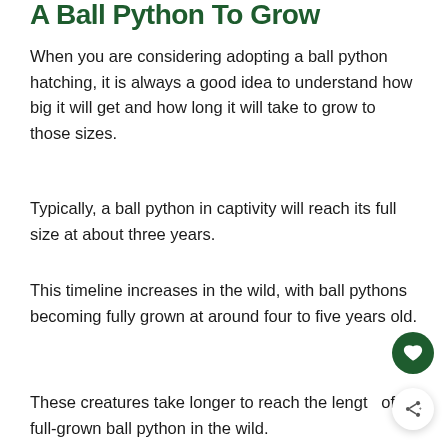A Ball Python To Grow
When you are considering adopting a ball python hatching, it is always a good idea to understand how big it will get and how long it will take to grow to those sizes.
Typically, a ball python in captivity will reach its full size at about three years.
This timeline increases in the wild, with ball pythons becoming fully grown at around four to five years old.
These creatures take longer to reach the length of a full-grown ball python in the wild.